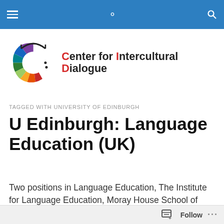Center for Intercultural Dialogue — navigation bar
[Figure (logo): Center for Intercultural Dialogue logo: colorful circular arrangement of shapes forming a C, with a black bridge/arch on top, alongside the text Center for Intercultural Dialogue with C, I, D in red]
TAGGED WITH UNIVERSITY OF EDINBURGH
U Edinburgh: Language Education (UK)
Two positions in Language Education, The Institute for Language Education, Moray House School of Education
Follow